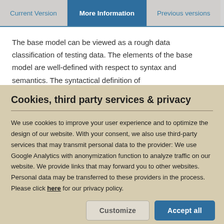Current Version | More Information | Previous versions
The base model can be viewed as a rough data classification of testing data. The elements of the base model are well-defined with respect to syntax and semantics. The syntactical definition of
Cookies, third party services & privacy
We use cookies to improve your user experience and to optimize the design of our website. With your consent, we also use third-party services that may transmit personal data to the provider: We use Google Analytics with anonymization function to analyze traffic on our website. We provide links that may forward you to other websites. Personal data may be transferred to these providers in the process. Please click here for our privacy policy.
Customize | Accept all